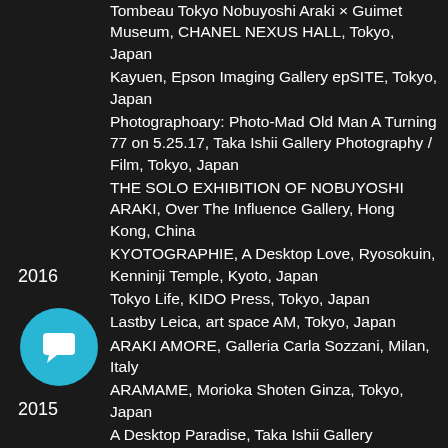Tombeau Tokyo Nobuyoshi Araki × Guimet Museum, CHANEL NEXUS HALL, Tokyo, Japan
Kayuen, Epson Imaging Gallery epSITE, Tokyo, Japan
Photographoary: Photo-Mad Old Man A Turning 77 on 5.25.17, Taka Ishii Gallery Photography / Film, Tokyo, Japan
THE SOLO EXHIBITION OF NOBUYOSHI ARAKI, Over The Influence Gallery, Hong Kong, China
KYOTOGRAPHIE, A Desktop Love, Ryosokuin, Kenninji Temple, Kyoto, Japan
Tokyo Life, KIDO Press, Tokyo, Japan
Lastby Leica, art space AM, Tokyo, Japan
2016
ARAKI AMORE, Galleria Carla Sozzani, Milan, Italy
ARAMAME, Morioka Shoten Ginza, Tokyo, Japan
A Desktop Paradise, Taka Ishii Gallery Photography Paris, Paris, France
ARAKI, Musée national des arts asiatiques Guimet, Paris, France
2015
Men Naked Face by Araki, OmotesandoHills SPACE O, Tokyo, Japan
[Figure (illustration): Cyan circular chat bubble icon button in the lower left area of the page]